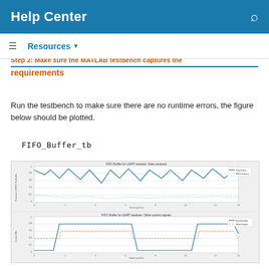Help Center
requirements
Run the testbench to make sure there are no runtime errors, the figure below should be plotted.
FIFO_Buffer_tb
[Figure (continuous-plot): Two MATLAB/Simulink plots stacked vertically. Top plot titled 'FIFO Buffer for UART receiver: Data received' showing data lines over simulation cycles with y-axis labeled 'Fraction of FIFO Tx Buffer'. Bottom plot titled 'FIFO Buffer for UART receiver: Other control signals' showing control signal waveforms over simulation cycles with y-axis labeled 'Control Bit'.]
Note that the testbench is examining the design in the following